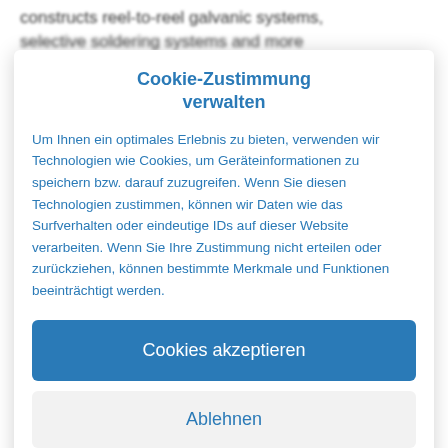constructs reel-to-reel galvanic systems, selective soldering systems and more
Cookie-Zustimmung verwalten
Um Ihnen ein optimales Erlebnis zu bieten, verwenden wir Technologien wie Cookies, um Geräteinformationen zu speichern bzw. darauf zuzugreifen. Wenn Sie diesen Technologien zustimmen, können wir Daten wie das Surfverhalten oder eindeutige IDs auf dieser Website verarbeiten. Wenn Sie Ihre Zustimmung nicht erteilen oder zurückziehen, können bestimmte Merkmale und Funktionen beeinträchtigt werden.
Cookies akzeptieren
Ablehnen
Einstellungen anzeigen
Cookie-Richtlinie  Privacy Policy  Site Notice